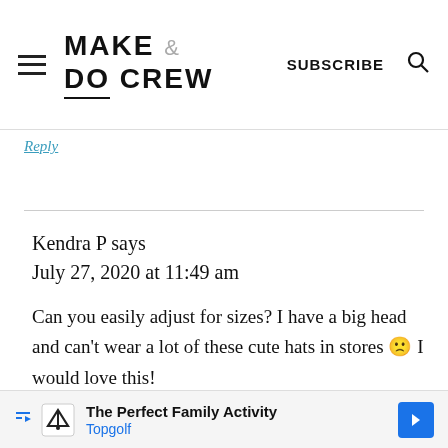MAKE & DO CREW | SUBSCRIBE
Reply
Kendra P says
July 27, 2020 at 11:49 am

Can you easily adjust for sizes? I have a big head and can't wear a lot of these cute hats in stores 🙁 I would love this!
[Figure (other): Advertisement banner: The Perfect Family Activity - Topgolf, with Topgolf logo and navigation arrow]